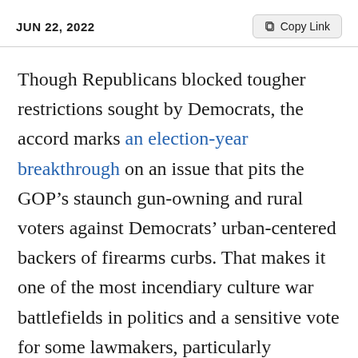JUN 22, 2022
Though Republicans blocked tougher restrictions sought by Democrats, the accord marks an election-year breakthrough on an issue that pits the GOP’s staunch gun-owning and rural voters against Democrats’ urban-centered backers of firearms curbs. That makes it one of the most incendiary culture war battlefields in politics and a sensitive vote for some lawmakers, particularly Republicans who might alienate Second Amendment stalwarts.